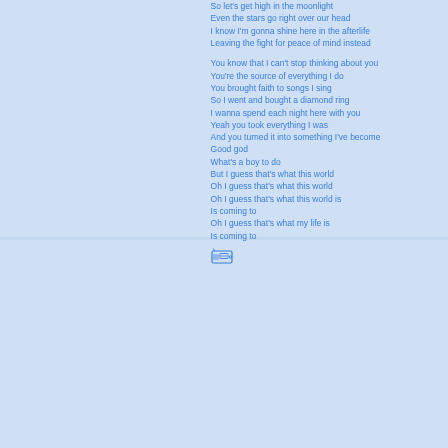So let's get high in the moonlight
Even the stars go right over our head
I know I'm gonna shine here in the afterlife
Leaving the fight for peace of mind instead

You know that I can't stop thinking about you
You're the source of everything I do
You brought faith to songs I sing
So I went and bought a diamond ring
I wanna spend each night here with you
Yeah you took everything I was
And you turned it into something I've become
Good god
What's a boy to do
But I guess that's what this world
Oh I guess that's what this world
Oh I guess that's what this world is
Is coming to
Oh I guess that's what my life is
Is coming to
[Figure (illustration): Small radio/cassette player icon in blue outline style]